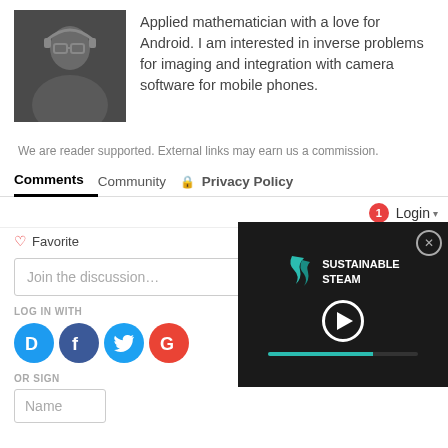[Figure (photo): Profile photo of a person wearing glasses and dark clothing]
Applied mathematician with a love for Android. I am interested in inverse problems for imaging and integration with camera software for mobile phones.
We are reader supported. External links may earn us a commission.
Comments   Community   🔒 Privacy Policy
1  Login ▾
♡ Favorite   Sort by Best ▾
Join the discussion...
LOG IN WITH
[Figure (logo): Social login icons: Disqus (D), Facebook (f), Twitter bird, Google (G)]
OR SIGN
Name
[Figure (screenshot): Video overlay showing Sustainable Steam logo and play button with progress bar]